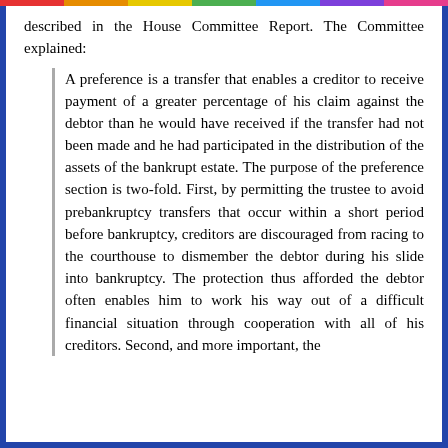described in the House Committee Report. The Committee explained:
A preference is a transfer that enables a creditor to receive payment of a greater percentage of his claim against the debtor than he would have received if the transfer had not been made and he had participated in the distribution of the assets of the bankrupt estate. The purpose of the preference section is two-fold. First, by permitting the trustee to avoid prebankruptcy transfers that occur within a short period before bankruptcy, creditors are discouraged from racing to the courthouse to dismember the debtor during his slide into bankruptcy. The protection thus afforded the debtor often enables him to work his way out of a difficult financial situation through cooperation with all of his creditors. Second, and more important, the